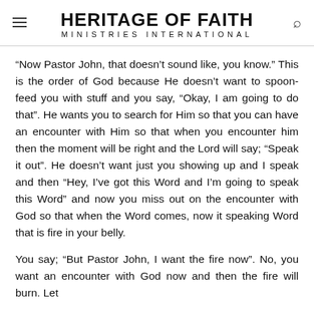HERITAGE OF FAITH MINISTRIES INTERNATIONAL
“Now Pastor John, that doesn’t sound like, you know.” This is the order of God because He doesn’t want to spoon-feed you with stuff and you say, “Okay, I am going to do that”. He wants you to search for Him so that you can have an encounter with Him so that when you encounter him then the moment will be right and the Lord will say; “Speak it out”. He doesn’t want just you showing up and I speak and then “Hey, I’ve got this Word and I’m going to speak this Word” and now you miss out on the encounter with God so that when the Word comes, now it speaking Word that is fire in your belly.
You say; “But Pastor John, I want the fire now”. No, you want an encounter with God now and then the fire will burn. Let